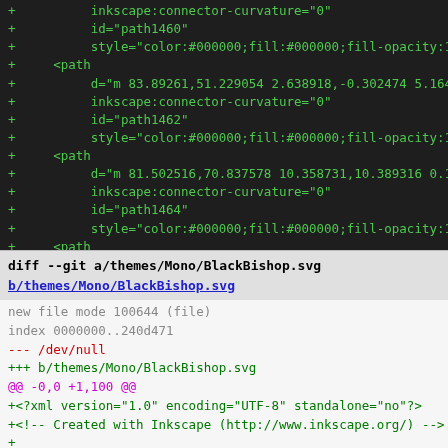Code diff showing SVG path elements with green added lines
diff --git a/themes/Mono/BlackBishop.svg
b/themes/Mono/BlackBishop.svg
new file mode 100644 (file)
index 0000000..240d471
--- /dev/null
+++ b/themes/Mono/BlackBishop.svg
@@ -0,0 +1,100 @@
+<?xml version="1.0" encoding="UTF-8" standalone="no"?>
+<!-- Created with Inkscape (http://www.inkscape.org/) -->
+
++<svg